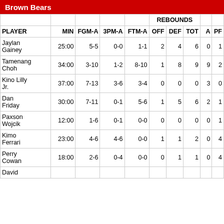Brown Bears
| PLAYER | MIN | FGM-A | 3PM-A | FTM-A | OFF | DEF | TOT | A | PF |
| --- | --- | --- | --- | --- | --- | --- | --- | --- | --- |
| Jaylan Gainey | 25:00 | 5-5 | 0-0 | 1-1 | 2 | 4 | 6 | 0 | 1 |
| Tamenang Choh | 34:00 | 3-10 | 1-2 | 8-10 | 1 | 8 | 9 | 9 | 2 |
| Kino Lilly Jr. | 37:00 | 7-13 | 3-6 | 3-4 | 0 | 0 | 0 | 3 | 0 |
| Dan Friday | 30:00 | 7-11 | 0-1 | 5-6 | 1 | 5 | 6 | 2 | 1 |
| Paxson Wojcik | 12:00 | 1-6 | 0-1 | 0-0 | 0 | 0 | 0 | 0 | 1 |
| Kimo Ferrari | 23:00 | 4-6 | 4-6 | 0-0 | 1 | 1 | 2 | 0 | 4 |
| Perry Cowan | 18:00 | 2-6 | 0-4 | 0-0 | 0 | 1 | 1 | 0 | 4 |
| David |  |  |  |  |  |  |  |  |  |